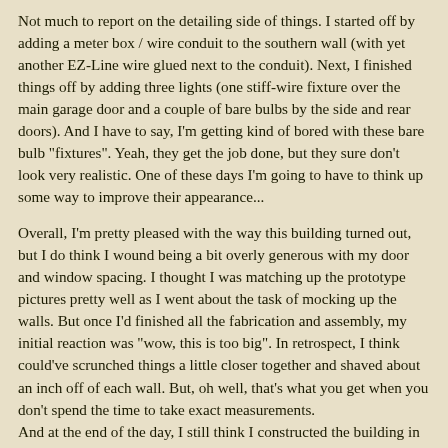Not much to report on the detailing side of things. I started off by adding a meter box / wire conduit to the southern wall (with yet another EZ-Line wire glued next to the conduit). Next, I finished things off by adding three lights (one stiff-wire fixture over the main garage door and a couple of bare bulbs by the side and rear doors). And I have to say, I'm getting kind of bored with these bare bulb "fixtures". Yeah, they get the job done, but they sure don't look very realistic. One of these days I'm going to have to think up some way to improve their appearance...
Overall, I'm pretty pleased with the way this building turned out, but I do think I wound being a bit overly generous with my door and window spacing. I thought I was matching up the prototype pictures pretty well as I went about the task of mocking up the walls. But once I'd finished all the fabrication and assembly, my initial reaction was "wow, this is too big". In retrospect, I think could've scrunched things a little closer together and shaved about an inch off of each wall. But, oh well, that's what you get when you don't spend the time to take exact measurements. And at the end of the day, I still think I constructed the building in...